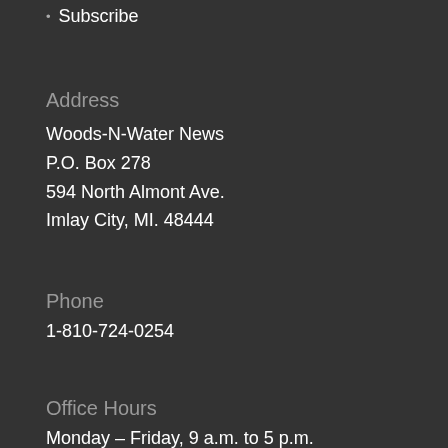Subscribe
Address
Woods-N-Water News
P.O. Box 278
594 North Almont Ave.
Imlay City, MI. 48444
Phone
1-810-724-0254
Office Hours
Monday – Friday, 9 a.m. to 5 p.m.